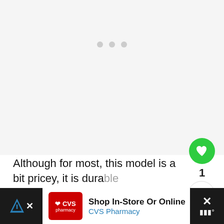[Figure (photo): Large product image area (mostly white/loading), with three gray pagination dots near the top center]
Although for most, this model is a bit pricey, it is durable and will last you for many years, I have no doubt about that. The wheelbarrow offers adjustable features such as tweaking the width of the rear wheels and handle
[Figure (infographic): Advertisement banner: CVS Pharmacy 'Shop In-Store Or Online' ad with red logo, blue arrow sign, and close button on right. Partially overlaid by dark areas on both sides.]